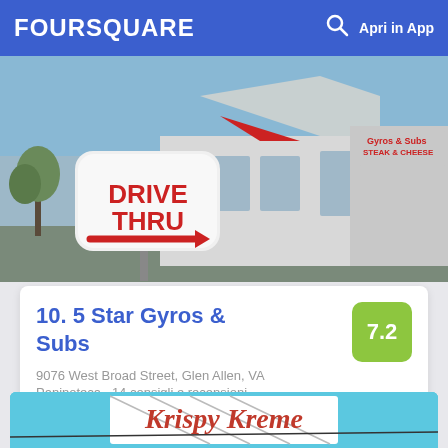FOURSQUARE  Apri in App
[Figure (photo): Exterior photo of 5 Star Gyros & Subs restaurant with Drive Thru sign in foreground and building showing Gyros & Subs Steak & Cheese signage]
10. 5 Star Gyros & Subs
9076 West Broad Street, Glen Allen, VA
Paninoteca · 14 consigli e recensioni
Jim Anderson: Try the Philly Steak And Cheese
[Figure (photo): Bottom partial photo showing Krispy Kreme sign against blue sky]